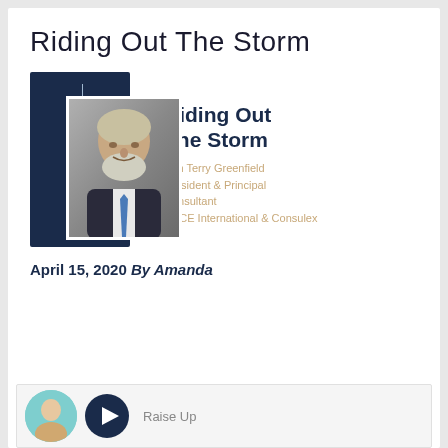Riding Out The Storm
[Figure (photo): Podcast episode card with dark navy background, vertical 'EPISODE 4' text label, and photo of older man with gray beard wearing suit and blue tie. To the right: title 'Riding Out The Storm', subtitle 'with Terry Greenfield', 'President & Principal Consultant', 'NACE International & Consulex']
April 15, 2020 By Amanda
[Figure (other): Bottom card with teal circular avatar photo, dark navy play button, and text 'Raise Up']